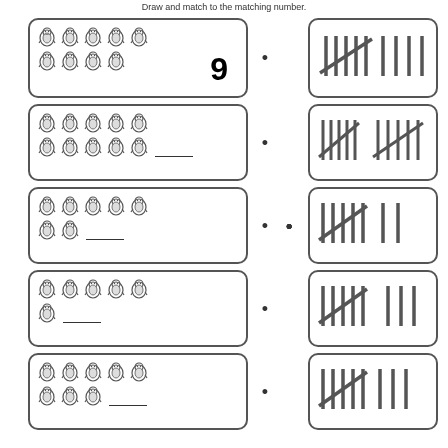Draw and match to the matching number.
[Figure (illustration): Row 1: Box with 9 penguins arranged in two rows (5 top, 4 bottom) with number 9 written. Dot connector. Right box with tally marks showing 9 (bundle of 5 crossed + 4 singles).]
[Figure (illustration): Row 2: Box with 10 penguins (5 top, 5 bottom) with blank line. Dot connector. Right box with tally marks showing 10 (two bundles of 5).]
[Figure (illustration): Row 3: Box with 7 penguins (5 top, 2 bottom) with blank line. Dot connector. Right box with tally marks showing 7 (5+2).]
[Figure (illustration): Row 4: Box with 6 penguins (5 top, 1 bottom) with blank line. Dot connector. Right box with tally marks showing 6 (5+1).]
[Figure (illustration): Row 5: Box with 8 penguins (5 top, 3 bottom) with blank line. Dot connector. Right box with tally marks showing 8 (5+3).]